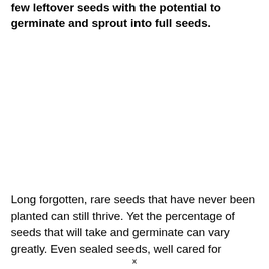few leftover seeds with the potential to germinate and sprout into full seeds.
Long forgotten, rare seeds that have never been planted can still thrive. Yet the percentage of seeds that will take and germinate can vary greatly. Even sealed seeds, well cared for
x